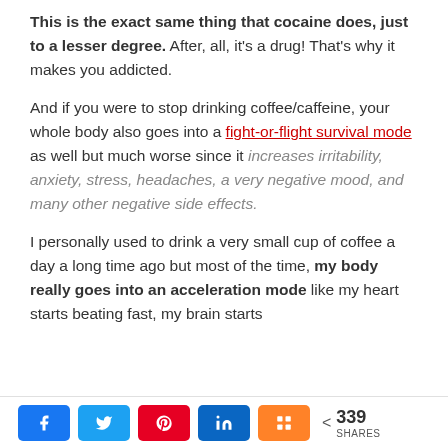This is the exact same thing that cocaine does, just to a lesser degree. After, all, it's a drug! That's why it makes you addicted.
And if you were to stop drinking coffee/caffeine, your whole body also goes into a fight-or-flight survival mode as well but much worse since it increases irritability, anxiety, stress, headaches, a very negative mood, and many other negative side effects.
I personally used to drink a very small cup of coffee a day a long time ago but most of the time, my body really goes into an acceleration mode like my heart starts beating fast, my brain starts
< 339 SHARES